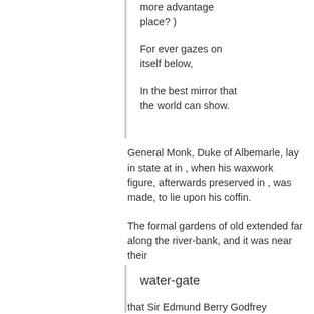more advantage place? )
For ever gazes on itself below,
In the best mirror that the world can show.
General Monk, Duke of Albemarle, lay in state at in , when his waxwork figure, afterwards preserved in , was made, to lie upon his coffin.
The formal gardens of old extended far along the river-bank, and it was near their
water-gate
that Sir Edmund Berry Godfrey